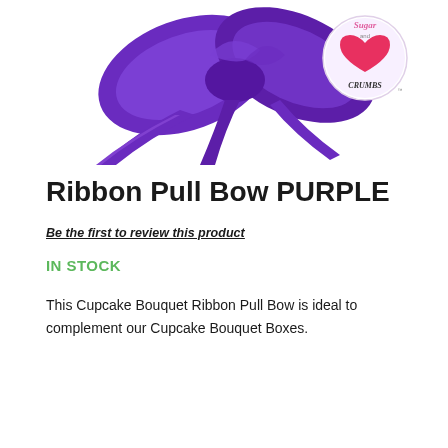[Figure (photo): Purple satin ribbon pull bow with a circular Sugar and Crumbs branded label/tag visible on the right side. The bow has multiple loops and ribbon tails.]
Ribbon Pull Bow PURPLE
Be the first to review this product
IN STOCK
This Cupcake Bouquet Ribbon Pull Bow is ideal to complement our Cupcake Bouquet Boxes.